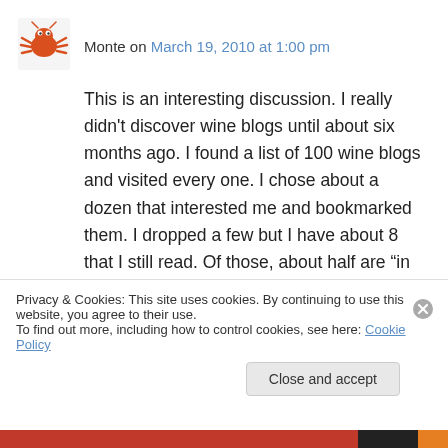[Figure (illustration): Avatar icon of a crab/spider-like creature in orange/red color on white background]
Monte on March 19, 2010 at 1:00 pm
This is an interesting discussion. I really didn't discover wine blogs until about six months ago. I found a list of 100 wine blogs and visited every one. I chose about a dozen that interested me and bookmarked them. I dropped a few but I have about 8 that I still read. Of those, about half are “in the business” and half aren’t. There was something that appeals to me about each of
Privacy & Cookies: This site uses cookies. By continuing to use this website, you agree to their use.
To find out more, including how to control cookies, see here: Cookie Policy
Close and accept